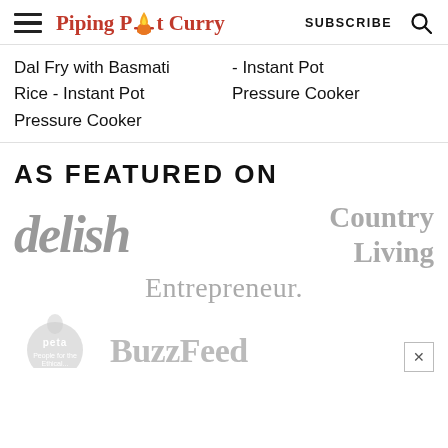Piping Pot Curry — SUBSCRIBE
Dal Fry with Basmati Rice - Instant Pot Pressure Cooker
- Instant Pot Pressure Cooker
AS FEATURED ON
[Figure (logo): delish logo in gray italic serif font]
[Figure (logo): Country Living logo in gray serif bold font]
[Figure (logo): Entrepreneur logo in gray serif font]
[Figure (logo): PETA logo circular gray]
[Figure (logo): BuzzFeed logo in gray bold serif font]